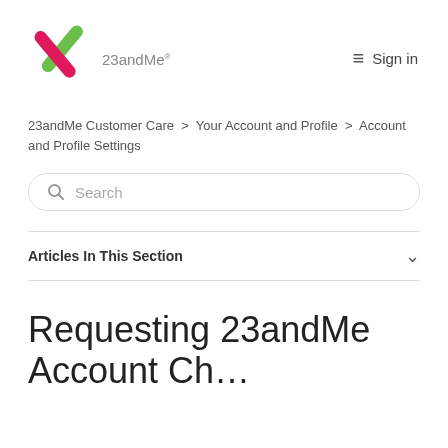[Figure (logo): 23andMe logo with pink and green X mark and grey 23andMe text]
Sign in
23andMe Customer Care > Your Account and Profile > Account and Profile Settings
Search
Articles In This Section
Requesting 23andMe Account Ch…